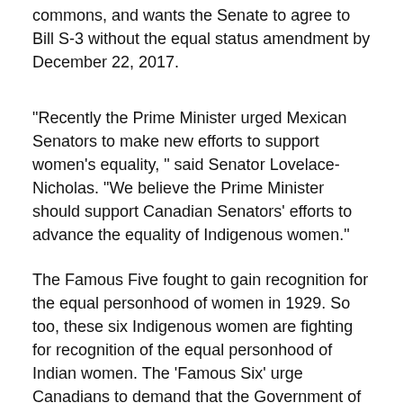commons, and wants the Senate to agree to Bill S-3 without the equal status amendment by December 22, 2017.
"Recently the Prime Minister urged Mexican Senators to make new efforts to support women's equality, " said Senator Lovelace-Nicholas. "We believe the Prime Minister should support Canadian Senators' efforts to advance the equality of Indigenous women."
The Famous Five fought to gain recognition for the equal personhood of women in 1929. So too, these six Indigenous women are fighting for recognition of the equal personhood of Indian women. The 'Famous Six' urge Canadians to demand that the Government of Canada entitle Indian women and their descendants to equal status in the Indian Act. Organizations and individuals can support this call for equality and act by